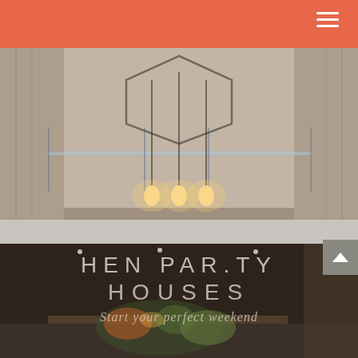[Figure (photo): Interior room with glass balcony railing, hanging pendant lights, and curtains in the background]
[Figure (photo): Dark interior dining/kitchen area with floral arrangement, overlaid with text 'HEN PARTY HOUSES' and 'Start your perfect weekend']
HEN PARTY HOUSES
Start your perfect weekend